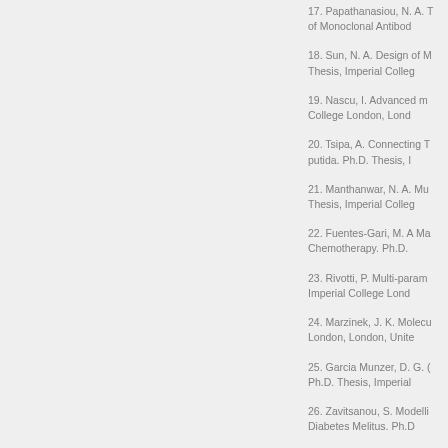17. Papathanasiou, N. A. T... of Monoclonal Antibod...
18. Sun, N. A. Design of M... Thesis, Imperial Colleg...
19. Nascu, I. Advanced m... College London, Lond...
20. Tsipa, A. Connecting T... putida. Ph.D. Thesis, I...
21. Manthanwar, N. A. Mu... Thesis, Imperial Colleg...
22. Fuentes-Gari, M. A Ma... Chemotherapy. Ph.D. ...
23. Rivotti, P. Multi-param... Imperial College Lond...
24. Marzinek, J. K. Molecu... London, London, Unite...
25. Garcia Munzer, D. G. ... Ph.D. Thesis, Imperial...
26. Zavitsanou, S. Modelli... Diabetes Melitus. Ph.D...